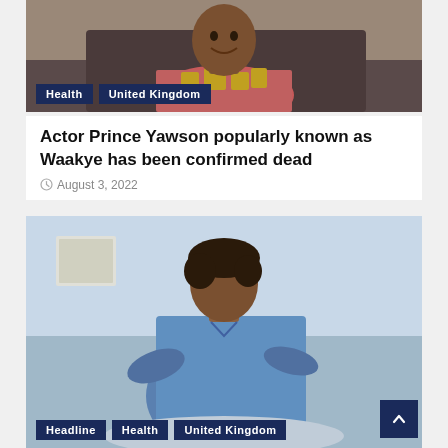[Figure (photo): Man smiling, wearing a pink and gold patterned African print shirt, sitting on a couch]
Health
United Kingdom
Actor Prince Yawson popularly known as Waakye has been confirmed dead
August 3, 2022
[Figure (photo): A nurse or healthcare worker in blue scrubs leaning over a patient in a medical setting]
Headline
Health
United Kingdom